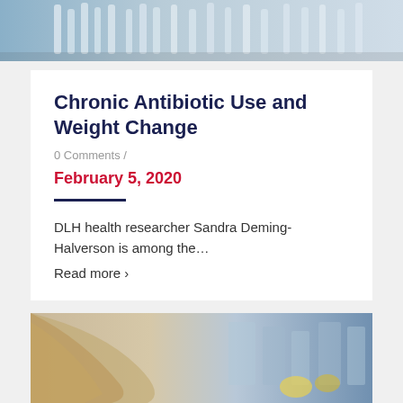[Figure (photo): Laboratory glassware and equipment, close-up view from above]
Chronic Antibiotic Use and Weight Change
0 Comments /
February 5, 2020
DLH health researcher Sandra Deming-Halverson is among the...
Read more >
[Figure (photo): Blonde woman researcher in a laboratory setting, seen from behind]